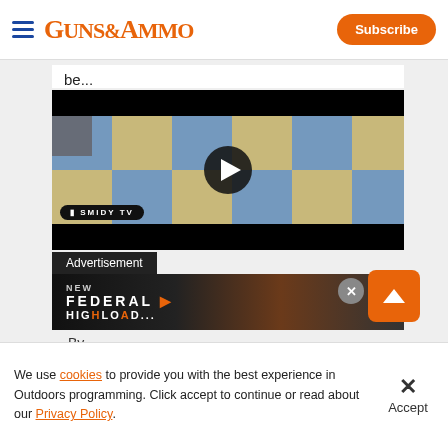GUNS&AMMO | Subscribe
be...
[Figure (screenshot): Video thumbnail showing people on a checkered floor with a play button overlay and SMIDY TV logo label]
Advertisement
[Figure (screenshot): Federal ammunition advertisement banner with NEW FEDERAL branding and orange close button]
By
We use cookies to provide you with the best experience in Outdoors programming. Click accept to continue or read about our Privacy Policy.